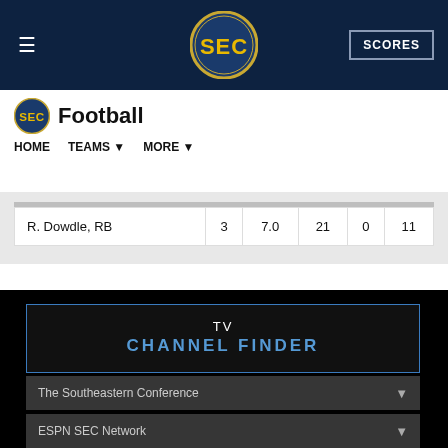SEC Football | HOME | TEAMS | MORE | SCORES
Football
| Player | ATT | AVG | YDS | TD | LNG |
| --- | --- | --- | --- | --- | --- |
| R. Dowdle, RB | 3 | 7.0 | 21 | 0 | 11 |
TV
CHANNEL FINDER
The Southeastern Conference
ESPN SEC Network
Schools